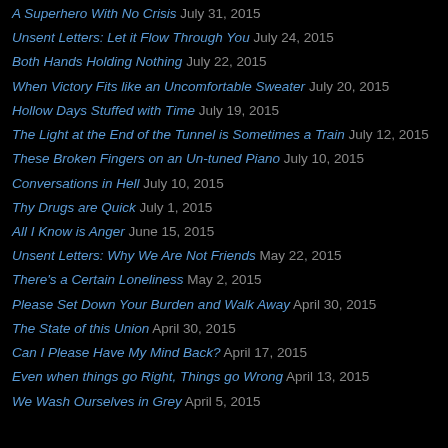A Superhero With No Crisis July 31, 2015
Unsent Letters: Let it Flow Through You July 24, 2015
Both Hands Holding Nothing July 22, 2015
When Victory Fits like an Uncomfortable Sweater July 20, 2015
Hollow Days Stuffed with Time July 19, 2015
The Light at the End of the Tunnel is Sometimes a Train July 12, 2015
These Broken Fingers on an Un-tuned Piano July 10, 2015
Conversations in Hell July 10, 2015
Thy Drugs are Quick July 1, 2015
All I Know is Anger June 15, 2015
Unsent Letters: Why We Are Not Friends May 22, 2015
There's a Certain Loneliness May 2, 2015
Please Set Down Your Burden and Walk Away April 30, 2015
The State of this Union April 30, 2015
Can I Please Have My Mind Back? April 17, 2015
Even when things go Right, Things go Wrong April 13, 2015
We Wash Ourselves in Grey April 5, 2015